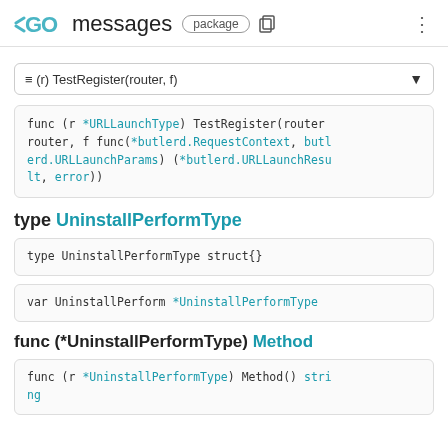GO messages package
≡ (r) TestRegister(router, f)
func (r *URLLaunchType) TestRegister(router router, f func(*butlerd.RequestContext, butlerd.URLLaunchParams) (*butlerd.URLLaunchResult, error))
type UninstallPerformType
type UninstallPerformType struct{}
var UninstallPerform *UninstallPerformType
func (*UninstallPerformType) Method
func (r *UninstallPerformType) Method() string